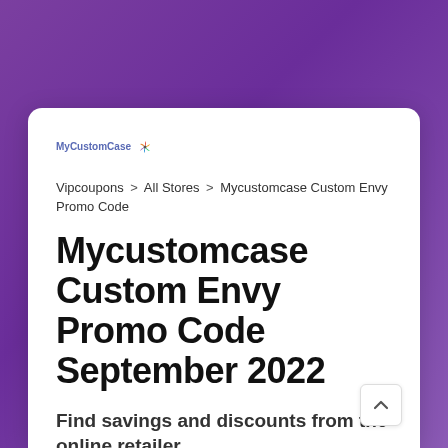[Figure (logo): MyCustomCase logo with colorful pinwheel/star icon]
Vipcoupons > All Stores > Mycustomcase Custom Envy Promo Code
Mycustomcase Custom Envy Promo Code September 2022
Find savings and discounts from the online retailer